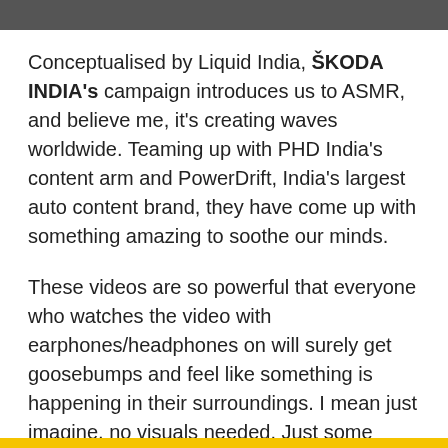[Figure (photo): Dark horizontal image bar at top of page, appears to be a partial photo strip]
Conceptualised by Liquid India, ŠKODA INDIA's campaign introduces us to ASMR, and believe me, it's creating waves worldwide. Teaming up with PHD India's content arm and PowerDrift, India's largest auto content brand, they have come up with something amazing to soothe our minds.
These videos are so powerful that everyone who watches the video with earphones/headphones on will surely get goosebumps and feel like something is happening in their surroundings. I mean just imagine, no visuals needed. Just some sound giving us a vivid calming picture. Want to know another exciting thing about this? Well, PowerDrift is also